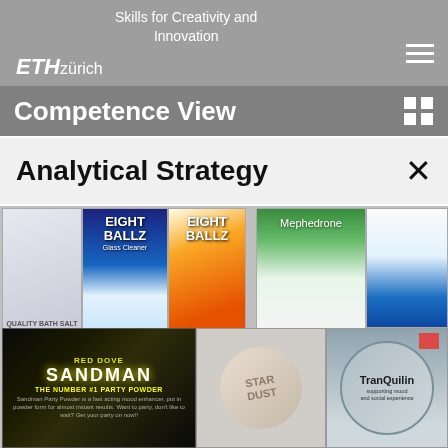Skills for Creativity and Innovation
[Figure (logo): ETH Zürich logo in white italic bold text on grey background]
Competence View
Analytical Strategy
[Figure (photo): Collage of drug-related product images including: Quality Bath Salt bag, Eight Ballz Glass Cleaner packages (x2), Mephedrone package, Big Daddy supplement bottle, Sandman Party Powder package, a round tablet/pill, and a Tranquilin container]